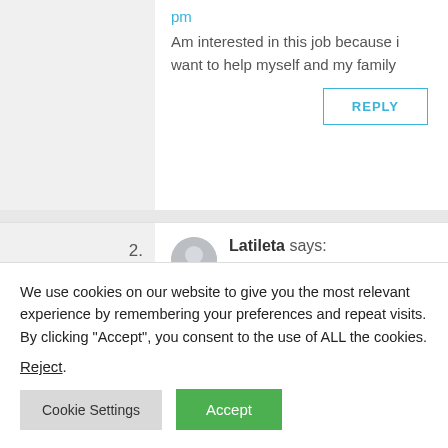pm
Am interested in this job because i want to help myself and my family
REPLY
2.
Latileta says:
We use cookies on our website to give you the most relevant experience by remembering your preferences and repeat visits. By clicking “Accept”, you consent to the use of ALL the cookies.
Reject.
Cookie Settings
Accept